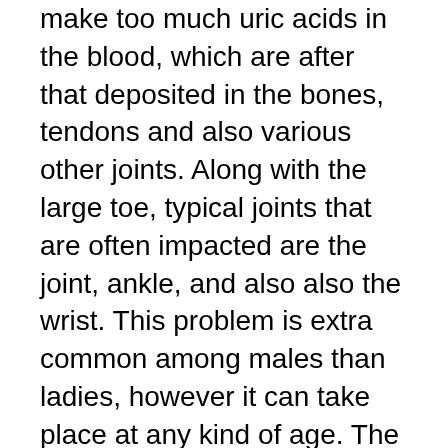make too much uric acids in the blood, which are after that deposited in the bones, tendons and also various other joints. Along with the large toe, typical joints that are often impacted are the joint, ankle, and also also the wrist. This problem is extra common among males than ladies, however it can take place at any kind of age. The major danger factors for gout are weight problems, alcoholic abuse, cigarette smoking, hypertension, bad diet as well as consuming habits and a family history of the illness.
Gout as well as arthritis are linked due to the fact that lots of way of life aspects, such as excess weight, high blood pressure, inadequate diet and absence of physical